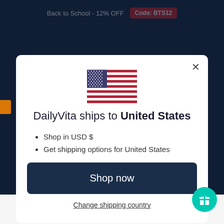Back to School - 12% OFF  Code: BTS12
[Figure (illustration): US flag emoji/graphic centered in modal]
DailyVita ships to United States
Shop in USD $
Get shipping options for United States
Shop now
Change shipping country
[Figure (logo): TrustedSite Certified Secure badge]
$10.04  $14.99